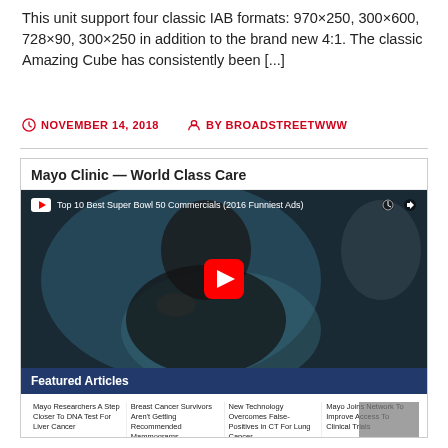This unit support four classic IAB formats: 970×250, 300×600, 728×90, 300×250 in addition to the brand new 4:1. The classic Amazing Cube has consistently been [...]
NOVEMBER 14, 2018    BY BROADSTREETWWW
[Figure (screenshot): Mayo Clinic World Class Care advertisement showing a YouTube video thumbnail of 'Top 10 Best Super Bowl 50 Commercials (2016 Funniest Ads)' with a Featured Articles section below containing four article links, Mayo Clinic Health System logo, and social media icons (Twitter, Instagram, Facebook).]